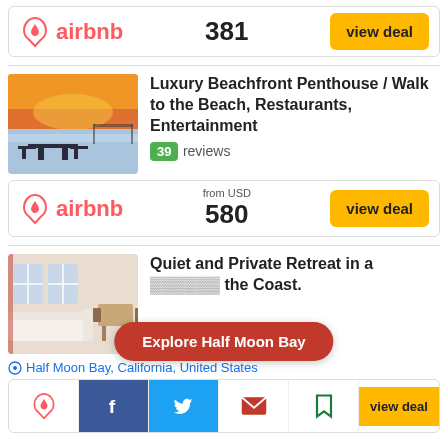[Figure (logo): Airbnb logo with price 381 and view deal button]
[Figure (photo): Beachfront penthouse at sunset with outdoor dining furniture]
Luxury Beachfront Penthouse / Walk to the Beach, Restaurants, Entertainment
39 reviews
[Figure (logo): Airbnb logo with price from USD 580 and view deal button]
[Figure (photo): Interior of a quiet retreat with white furniture and dining table]
Quiet and Private Retreat in a ... the Coast.
Explore Half Moon Bay
Half Moon Bay, California, United States
[Figure (infographic): Bottom bar with Airbnb, Facebook, Twitter, email, bookmark icons and view deal button]